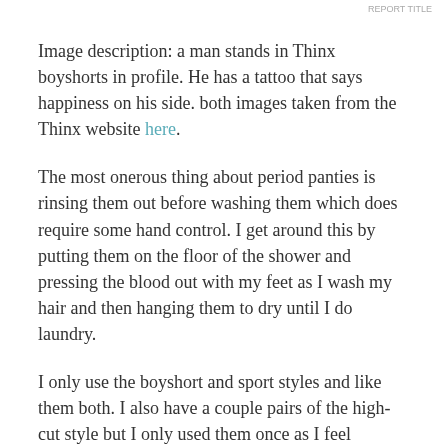REPORT TITLE
Image description: a man stands in Thinx boyshorts in profile. He has a tattoo that says happiness on his side. both images taken from the Thinx website here.
The most onerous thing about period panties is rinsing them out before washing them which does require some hand control. I get around this by putting them on the floor of the shower and pressing the blood out with my feet as I wash my hair and then hanging them to dry until I do laundry.
I only use the boyshort and sport styles and like them both. I also have a couple pairs of the high-cut style but I only used them once as I feel